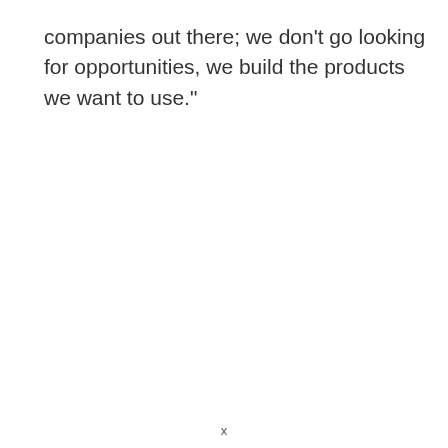companies out there; we don't go looking for opportunities, we build the products we want to use."
x